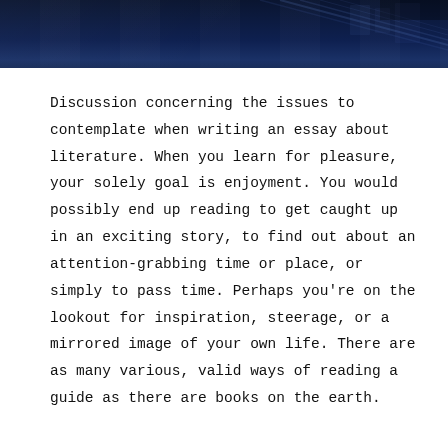[Figure (photo): Dark navy blue header image, appears to show architectural or structural elements at night or in low light]
Discussion concerning the issues to contemplate when writing an essay about literature. When you learn for pleasure, your solely goal is enjoyment. You would possibly end up reading to get caught up in an exciting story, to find out about an attention-grabbing time or place, or simply to pass time. Perhaps you're on the lookout for inspiration, steerage, or a mirrored image of your own life. There are as many various, valid ways of reading a guide as there are books on the earth.